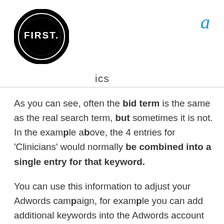[Figure (logo): FIRST. logo — black circle with white text reading FIRST. in bold capitals]
ics
As you can see, often the bid term is the same as the real search term, but sometimes it is not. In the example above, the 4 entries for ‘Clinicians’ would normally be combined into a single entry for that keyword.
You can use this information to adjust your Adwords campaign, for example you can add additional keywords into the Adwords account (e.g. “new zealand clinicians” shown above) and depending on the ROI of the keywords you could adjust the bids or even